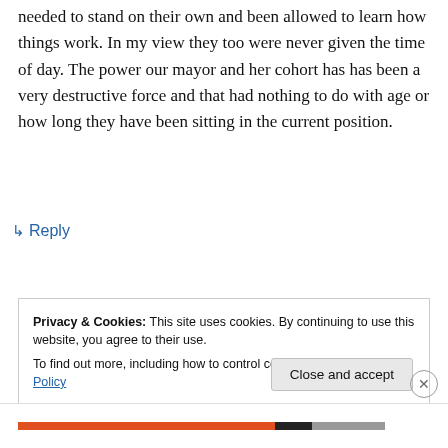needed to stand on their own and been allowed to learn how things work. In my view they too were never given the time of day. The power our mayor and her cohort has has been a very destructive force and that had nothing to do with age or how long they have been sitting in the current position.
↳ Reply
Privacy & Cookies: This site uses cookies. By continuing to use this website, you agree to their use. To find out more, including how to control cookies, see here: Cookie Policy